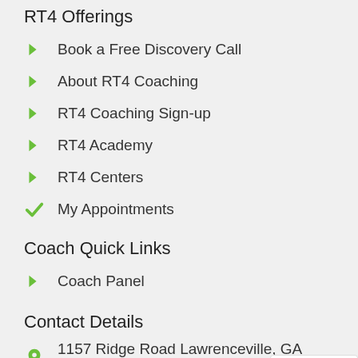RT4 Offerings
Book a Free Discovery Call
About RT4 Coaching
RT4 Coaching Sign-up
RT4 Academy
RT4 Centers
My Appointments
Coach Quick Links
Coach Panel
Contact Details
1157 Ridge Road Lawrenceville, GA 30043
(507) 262-0373